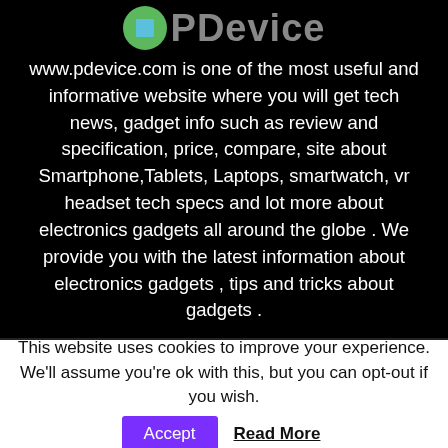[Figure (logo): PDevice logo: green circle with blue square inside, followed by grey 'PDevice' text]
www.pdevice.com is one of the most useful and informative website where you will get tech news, gadget info such as review and specification, price, compare, site about Smartphone,Tablets, Laptops, smartwatch, vr headset tech specs and lot more about electronics gadgets all around the globe . We provide you with the latest information about electronics gadgets , tips and tricks about gadgets .
Contact us: pdevice99@gmail.com
This website uses cookies to improve your experience. We'll assume you're ok with this, but you can opt-out if you wish.
Accept   Read More